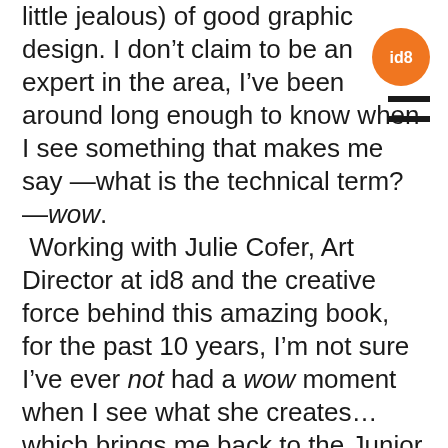[Figure (logo): Orange circular logo with white 'id8' text]
little jealous) of good graphic design. I don't claim to be an expert in the area, I've been around long enough to know when I see something that makes me say—what is the technical term?—wow. Working with Julie Cofer, Art Director at id8 and the creative force behind this amazing book, for the past 10 years, I'm not sure I've ever not had a wow moment when I see what she creates…which brings me back to the Junior Ranger Activity Book.

When Stephanie Steinhorst, Park Ranger at the Andersonville National Historic Site,